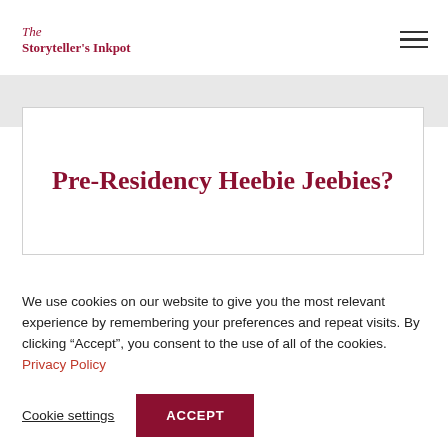The Storyteller's Inkpot
Pre-Residency Heebie Jeebies?
We use cookies on our website to give you the most relevant experience by remembering your preferences and repeat visits. By clicking “Accept”, you consent to the use of all of the cookies. Privacy Policy
Cookie settings  ACCEPT